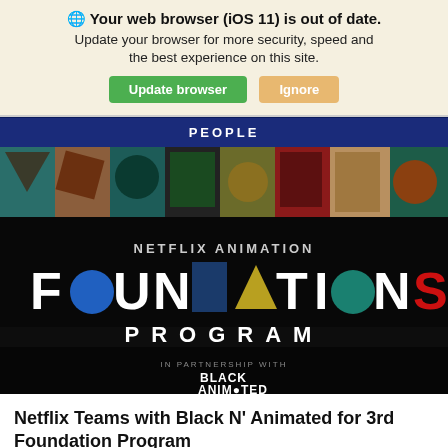🌐 Your web browser (iOS 11) is out of date. Update your browser for more security, speed and the best experience on this site. [Update browser] [Ignore]
PEOPLE
[Figure (photo): Netflix Animation Foundations Program banner image with colorful geometric shapes in background and text: NETFLIX ANIMATION FOUNDATIONS PROGRAM IN PARTNERSHIP WITH BLACK ANIMATED]
Netflix Teams with Black N' Animated for 3rd Foundation Program